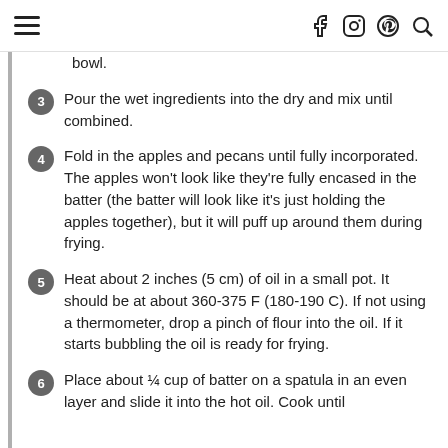≡  f  ○  ⊕  ○
bowl.
3 Pour the wet ingredients into the dry and mix until combined.
4 Fold in the apples and pecans until fully incorporated. The apples won't look like they're fully encased in the batter (the batter will look like it's just holding the apples together), but it will puff up around them during frying.
5 Heat about 2 inches (5 cm) of oil in a small pot. It should be at about 360-375 F (180-190 C). If not using a thermometer, drop a pinch of flour into the oil. If it starts bubbling the oil is ready for frying.
6 Place about ¼ cup of batter on a spatula in an even layer and slide it into the hot oil. Cook until